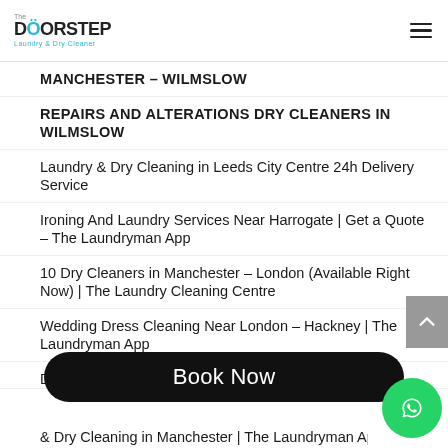The Doorstep | Laundry & Dry Cleaner
MANCHESTER – WILMSLOW
REPAIRS AND ALTERATIONS DRY CLEANERS IN WILMSLOW
Laundry & Dry Cleaning in Leeds City Centre 24h Delivery Service
Ironing And Laundry Services Near Harrogate | Get a Quote – The Laundryman App
10 Dry Cleaners in Manchester – London (Available Right Now) | The Laundry Cleaning Centre
Wedding Dress Cleaning Near London – Hackney | The Laundryman App
Dry Cleaners | Dry Cleaners Near Me in London –
& Dry Cleaning in Manchester | The Laundryman App